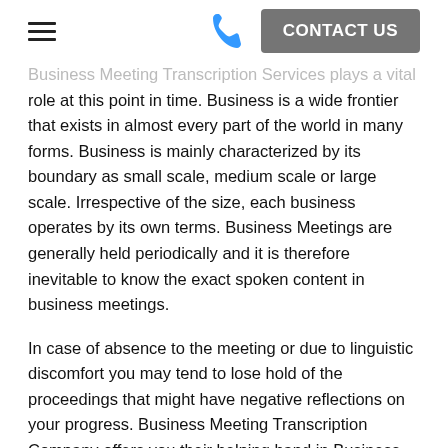≡  📞  CONTACT US
Business Meeting Transcription Services plays a vital role at this point in time. Business is a wide frontier that exists in almost every part of the world in many forms. Business is mainly characterized by its boundary as small scale, medium scale or large scale. Irrespective of the size, each business operates by its own terms. Business Meetings are generally held periodically and it is therefore inevitable to know the exact spoken content in business meetings.
In case of absence to the meeting or due to linguistic discomfort you may tend to lose hold of the proceedings that might have negative reflections on your progress. Business Meeting Transcription Company offers you their helping hand in Business Meeting Transcribing.
Business Meeting Transcription Services...